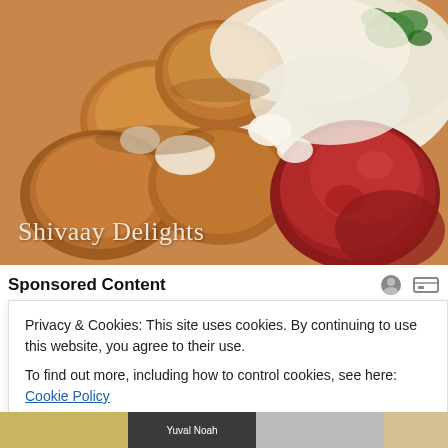[Figure (photo): Close-up food photo of fried potato croquettes/patties with a red tomato-based sauce and white cream/yogurt sauce, garnished with green herbs. Text overlay reads 'Shivaay Delights' in cream serif font.]
Sponsored Content
Privacy & Cookies: This site uses cookies. By continuing to use this website, you agree to their use.
To find out more, including how to control cookies, see here: Cookie Policy
Close and accept
[Figure (photo): Bottom strip showing partial book covers, including one with 'Yuval Noah' visible on a dark background.]